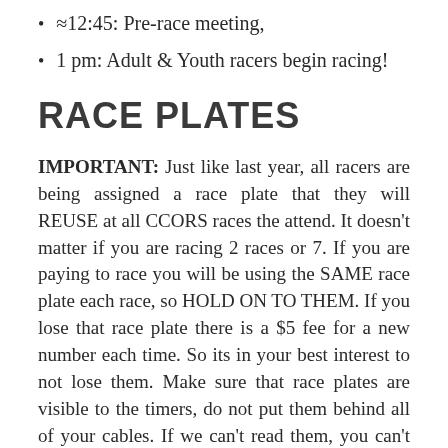≈12:45: Pre-race meeting,
1 pm: Adult & Youth racers begin racing!
RACE PLATES
IMPORTANT: Just like last year, all racers are being assigned a race plate that they will REUSE at all CCORS races the attend. It doesn't matter if you are racing 2 races or 7. If you are paying to race you will be using the SAME race plate each race, so HOLD ON TO THEM. If you lose that race plate there is a $5 fee for a new number each time. So its in your best interest to not lose them. Make sure that race plates are visible to the timers, do not put them behind all of your cables. If we can't read them, you can't get timed properly